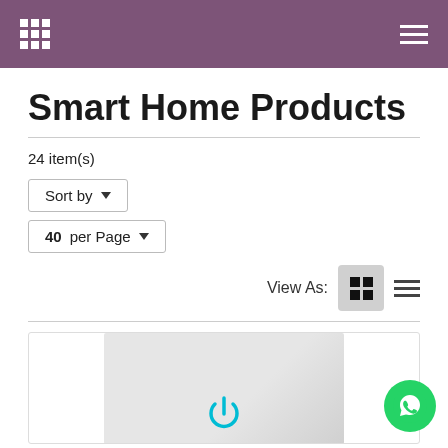Smart Home Products - navigation header with grid and menu icons
Smart Home Products
24 item(s)
Sort by
40 per Page
View As:
[Figure (photo): Smart home switch product image with teal power icon on light gray background]